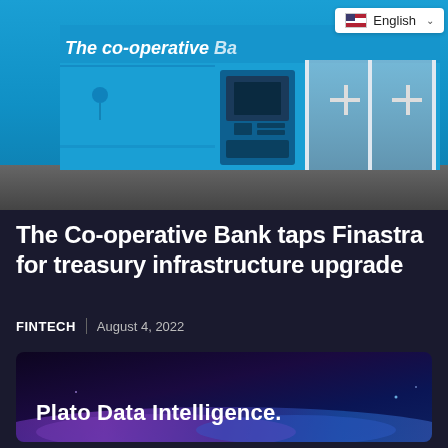[Figure (photo): Exterior photo of The Co-operative Bank branch with blue facade, ATM, and glass doors. English language selector visible in top right corner.]
The Co-operative Bank taps Finastra for treasury infrastructure upgrade
FINTECH | August 4, 2022
[Figure (photo): Plato Data Intelligence banner with dark purple/blue background and glowing light wave effect.]